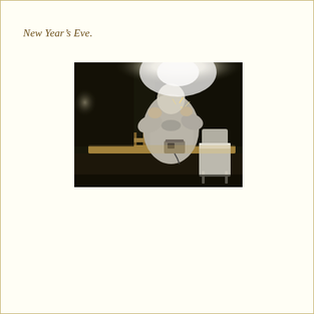New Year’s Eve.
[Figure (photo): A night-time photograph of a person in a light grey sweatshirt standing behind a wooden deck railing. There is a bright flash/light reflection visible at the top of the image creating a glowing overexposed area. A white plastic chair is visible to the right of the person, and a small device (possibly a radio or camera) sits on the railing. The background is very dark. The photo has the warm, slightly washed-out quality of a film photograph.]